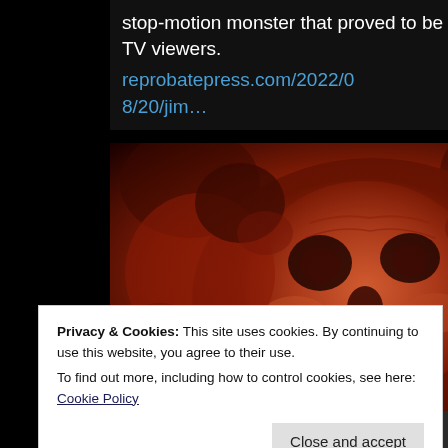stop-motion monster that proved to be too much for some TV viewers.
reprobatepress.com/2022/08/20/jim…
[Figure (photo): Close-up of a reddish, demonic-looking stop-motion monster creature with skull-like face against a dark red background]
reprobatepress.com
Jim Danforth And The Armor All Rot Monster
Privacy & Cookies: This site uses cookies. By continuing to use this website, you agree to their use.
To find out more, including how to control cookies, see here: Cookie Policy
Close and accept
El Santo: Mexico's Masked